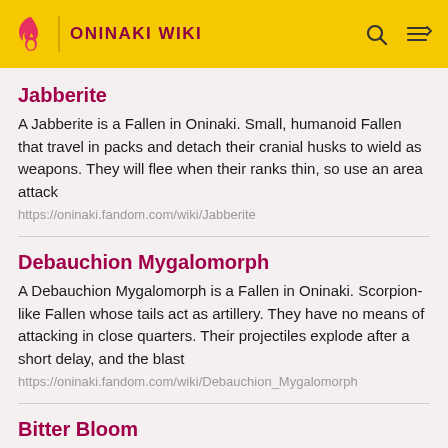ONINAKI WIKI
Jabberite
A Jabberite is a Fallen in Oninaki. Small, humanoid Fallen that travel in packs and detach their cranial husks to wield as weapons. They will flee when their ranks thin, so use an area attack
https://oninaki.fandom.com/wiki/Jabberite
Debauchion Mygalomorph
A Debauchion Mygalomorph is a Fallen in Oninaki. Scorpion-like Fallen whose tails act as artillery. They have no means of attacking in close quarters. Their projectiles explode after a short delay, and the blast
https://oninaki.fandom.com/wiki/Debauchion_Mygalomorph
Bitter Bloom